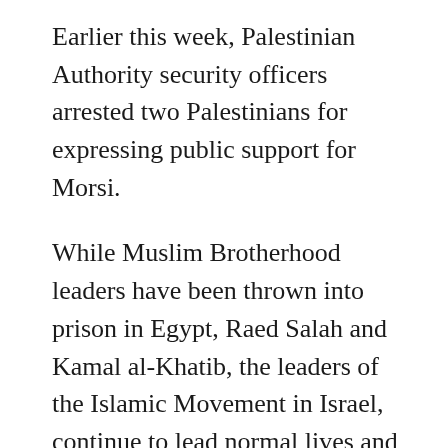Earlier this week, Palestinian Authority security officers arrested two Palestinians for expressing public support for Morsi.
While Muslim Brotherhood leaders have been thrown into prison in Egypt, Raed Salah and Kamal al-Khatib, the leaders of the Islamic Movement in Israel, continue to lead normal lives and organize various political activities around the country.
One of them, Islambuli Badir from Tulkarem, was detained for manufacturing and marketing a perfume named after Morsi. The second, Mahmoud Ayyad, a poet from Bethlehem, was taken into custody for